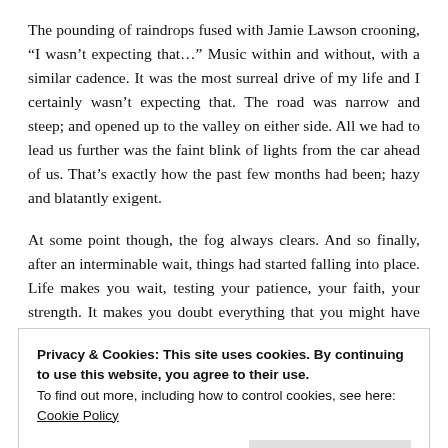The pounding of raindrops fused with Jamie Lawson crooning, “I wasn’t expecting that…” Music within and without, with a similar cadence. It was the most surreal drive of my life and I certainly wasn’t expecting that. The road was narrow and steep; and opened up to the valley on either side. All we had to lead us further was the faint blink of lights from the car ahead of us. That’s exactly how the past few months had been; hazy and blatantly exigent.
At some point though, the fog always clears. And so finally, after an interminable wait, things had started falling into place. Life makes you wait, testing your patience, your faith, your strength. It makes you doubt everything that you might have trained yourself to believe in. And then suddenly, like a burst of unexpected rain, the abundance
Privacy & Cookies: This site uses cookies. By continuing to use this website, you agree to their use.
To find out more, including how to control cookies, see here: Cookie Policy
arrived at Misty Meadows just as dusk was setting in. A warm,